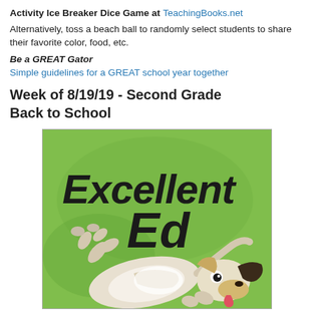Activity Ice Breaker Dice Game at TeachingBooks.net
Alternatively, toss a beach ball to randomly select students to share their favorite color, food, etc.
Be a GREAT Gator
Simple guidelines for a GREAT school year together
Week of 8/19/19 - Second Grade Back to School
[Figure (illustration): Book cover illustration for 'Excellent Ed' showing a cartoon dog (collie-type) lying on its back on a green background with the text 'Excellent Ed' in large hand-drawn lettering.]